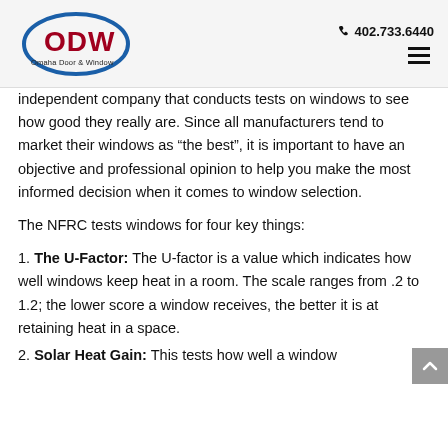ODW Omaha Door & Window | 402.733.6440
independent company that conducts tests on windows to see how good they really are. Since all manufacturers tend to market their windows as “the best”, it is important to have an objective and professional opinion to help you make the most informed decision when it comes to window selection.
The NFRC tests windows for four key things:
1. The U-Factor: The U-factor is a value which indicates how well windows keep heat in a room. The scale ranges from .2 to 1.2; the lower score a window receives, the better it is at retaining heat in a space.
2. Solar Heat Gain: This tests how well a window